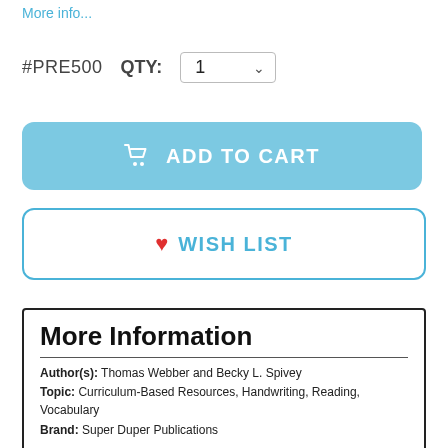More info...
#PRE500   QTY:  1
[Figure (other): Add to Cart button - light blue rounded rectangle with shopping cart icon and text 'ADD TO CART']
[Figure (other): Wish List button - white rounded rectangle with blue border, red heart icon and teal text 'WISH LIST']
More Information
Author(s):  Thomas Webber and Becky L. Spivey
Topic:  Curriculum-Based Resources, Handwriting, Reading, Vocabulary
Brand:  Super Duper Publications